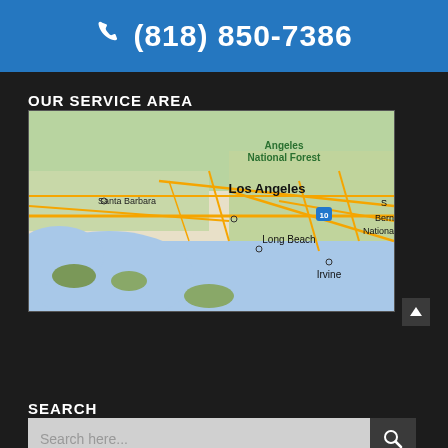(818) 850-7386
OUR SERVICE AREA
[Figure (map): Google map showing the Los Angeles area service region including Santa Barbara, Angeles National Forest, Los Angeles, Long Beach, Irvine, and portions of San Bernardino National Forest]
SEARCH
Search here...